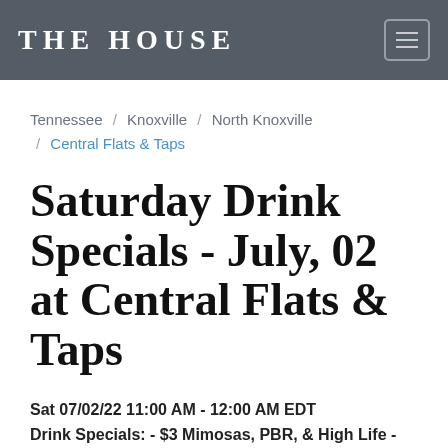THE HOUSE
Tennessee / Knoxville / North Knoxville / Central Flats & Taps
Saturday Drink Specials - July, 02 at Central Flats & Taps
Sat 07/02/22 11:00 AM - 12:00 AM EDT
Drink Specials: - $3 Mimosas, PBR, & High Life - $7